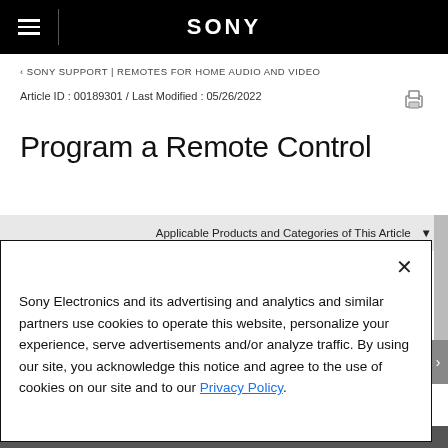SONY
‹ SONY SUPPORT | REMOTES FOR HOME AUDIO AND VIDEO
Article ID : 00189301 / Last Modified : 05/26/2022
Program a Remote Control
Applicable Products and Categories of This Article
Sony Electronics and its advertising and analytics and similar partners use cookies to operate this website, personalize your experience, serve advertisements and/or analyze traffic. By using our site, you acknowledge this notice and agree to the use of cookies on our site and to our Privacy Policy.